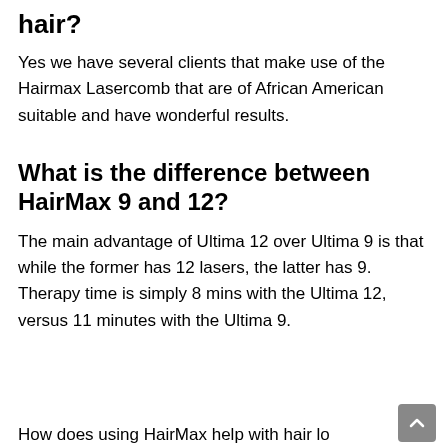hair?
Yes we have several clients that make use of the Hairmax Lasercomb that are of African American suitable and have wonderful results.
What is the difference between HairMax 9 and 12?
The main advantage of Ultima 12 over Ultima 9 is that while the former has 12 lasers, the latter has 9. Therapy time is simply 8 mins with the Ultima 12, versus 11 minutes with the Ultima 9.